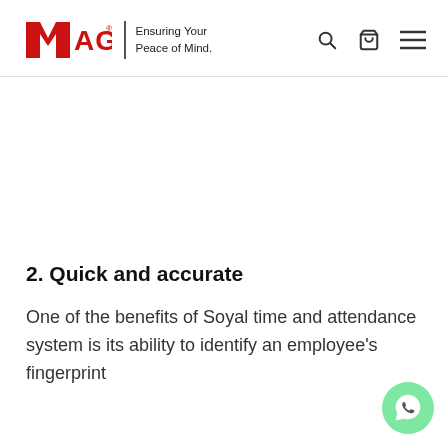[Figure (logo): MAG logo with red M and AG text, with tagline 'Ensuring Your Peace of Mind.' and navigation icons (search, bag, hamburger menu)]
2. Quick and accurate
One of the benefits of Soyal time and attendance system is its ability to identify an employee's fingerprint